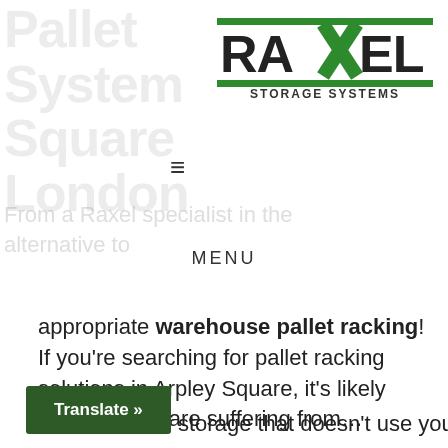[Figure (logo): Raxel Storage Systems logo with green X design and green underline bars]
≡
MENU
appropriate warehouse pallet racking! If you're searching for pallet racking solutions in Arpley Square, it's likely because you are suffering from…
Translate »
storage that doesn't use your